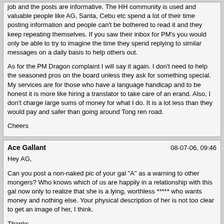job and the posts are informative. The HH community is used and valuable — people like AG, Santa, Cebu etc spend a lot of their time posting information and people can't be bothered to read it and they keep repeating themselves. If you saw their inbox for PM's you would only be able to try to imagine the time they spend replying to similar messages on a daily basis to help others out.

As for the PM Dragon complaint I will say it again. I don't need to help the seasoned pros on the board unless they ask for something special. My services are for those who have a language handicap and to be honest it is more like hiring a translator to take care of an erand. Also, I don't charge large sums of money for what I do. It is a lot less than they would pay and safer than going around Tong ren road.

Cheers
Ace Gallant | 08-07-06, 09:46

Hey AG,

Can you post a non-naked pic of your gal "A" as a warning to other mongers? Who knows which of us are happily in a relationship with this gal now only to realize that she is a lying, worthless ***** who wants money and nothing else. Your physical description of her is not too clear to get an image of her, I think.

Thanks,

J

There are two main reasons why I don't post her photo on the board.

1) Although she may be worthless to you, but she still a human. I can't image the effect of her photo appearing on a public board which would destoy her life completely!

2) It is just not right to post photos of a person in public domain without their permission. - Reminded me by Blacklisted.